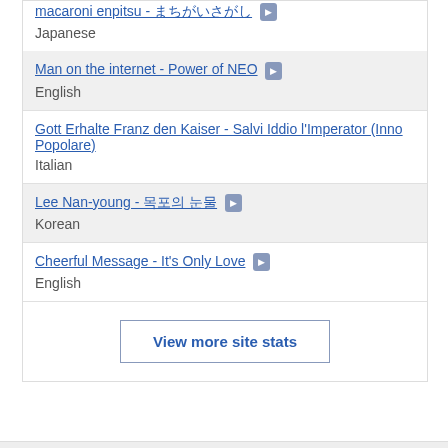macaroni enpitsu - まちがいさがし | Japanese
Man on the internet - Power of NEO | English
Gott Erhalte Franz den Kaiser - Salvi Iddio l'Imperator (Inno Popolare) | Italian
Lee Nan-young - 목포의 눈물 | Korean
Cheerful Message - It's Only Love | English
View more site stats